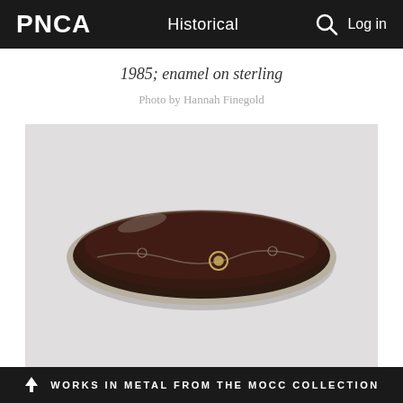PNCA   Historical   Log in
1985; enamel on sterling
Photo by Hannah Finegold
[Figure (photo): Oval brooch or pin with dark brown/black enamel surface on a sterling silver frame, featuring a subtle curved line design and small circle detail near center, photographed on a white/light grey background.]
WORKS IN METAL FROM THE MOCC COLLECTION